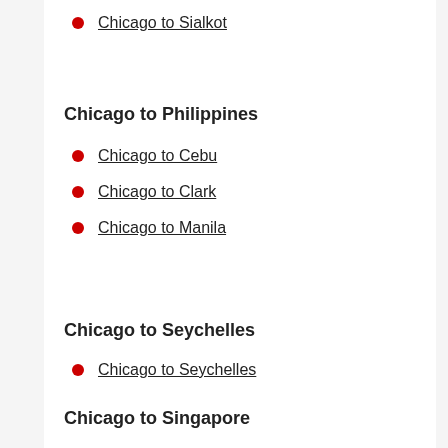Chicago to Sialkot
Chicago to Philippines
Chicago to Cebu
Chicago to Clark
Chicago to Manila
Chicago to Seychelles
Chicago to Seychelles
Chicago to Singapore
Chicago to Singapore